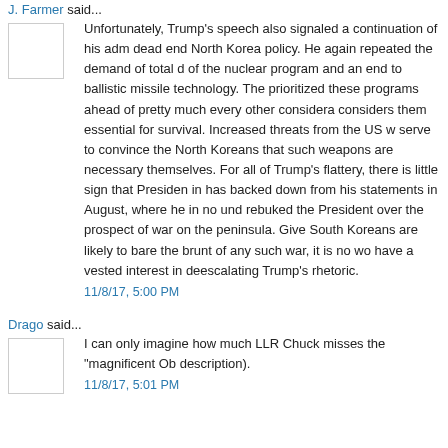J. Farmer said...
Unfortunately, Trump's speech also signaled a continuation of his adm... dead end North Korea policy. He again repeated the demand of total d... of the nuclear program and an end to ballistic missile technology. The... prioritized these programs ahead of pretty much every other considera... considers them essential for survival. Increased threats from the US w... serve to convince the North Koreans that such weapons are necessary... themselves. For all of Trump's flattery, there is little sign that Presiden... in has backed down from his statements in August, where he in no un... rebuked the President over the prospect of war on the peninsula. Give... South Koreans are likely to bare the brunt of any such war, it is no wo... have a vested interest in deescalating Trump's rhetoric.
11/8/17, 5:00 PM
Drago said...
I can only imagine how much LLR Chuck misses the "magnificent Ob... description).
11/8/17, 5:01 PM